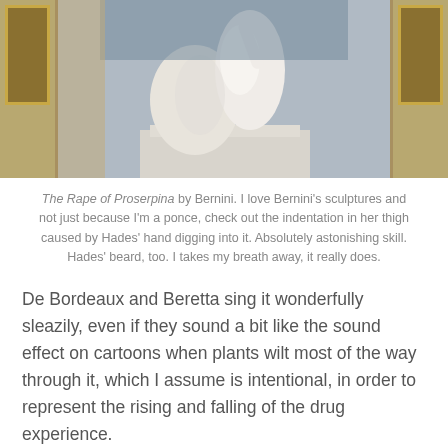[Figure (photo): Photograph of The Rape of Proserpina sculpture by Bernini, showing white marble figures in a museum setting with ornate golden frames in the background.]
The Rape of Proserpina by Bernini.  I love Bernini's sculptures and not just because I'm a ponce, check out the indentation in her thigh caused by Hades' hand digging into it.  Absolutely astonishing skill. Hades' beard, too.  I takes my breath away, it really does.
De Bordeaux and Beretta sing it wonderfully sleazily, even if they sound a bit like the sound effect on cartoons when plants wilt most of the way through it, which I assume is intentional, in order to represent the rising and falling of the drug experience.
As bluntly descriptive as most of the lyrics are, they're not the reason it sounds psychedelic.  It's the singing and musical backing that does that.